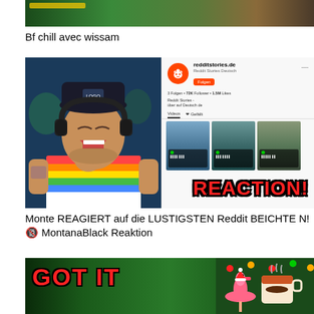[Figure (screenshot): Top portion of a video thumbnail showing a game scene with green environment]
Bf chill avec wissam
[Figure (screenshot): Thumbnail showing a streamer laughing with headphones and rainbow shirt on the left, and a redditstories.de Facebook/Instagram page on the right with REACTION! text overlay in red bold letters]
Monte REAGIERT auf die LUSTIGSTEN Reddit BEICHTEN!🔞 MontanaBlack Reaktion
[Figure (screenshot): Bottom thumbnail showing red GOT IT text on green background with a flamingo/holiday cup decoration on the right]